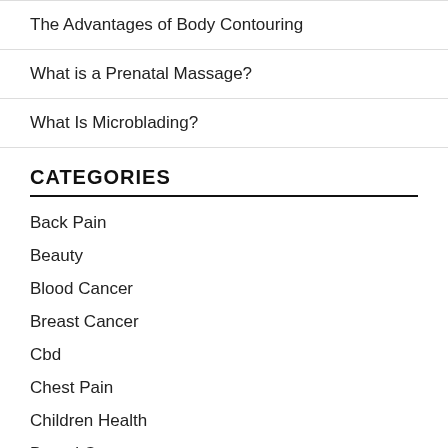The Advantages of Body Contouring
What is a Prenatal Massage?
What Is Microblading?
CATEGORIES
Back Pain
Beauty
Blood Cancer
Breast Cancer
Cbd
Chest Pain
Children Health
Dental Care
Diseases
Exercise
Fitness